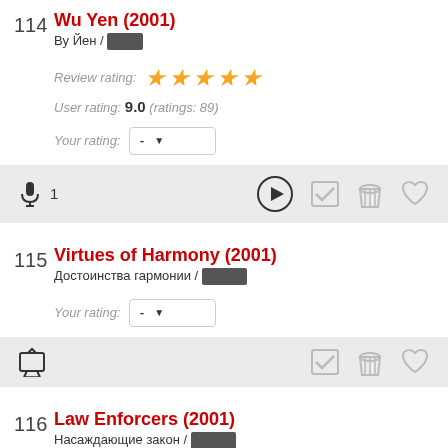114 Wu Yen (2001) / Ву Йен / [censored]
Review rating: ★★★★★
User rating: 9.0 (ratings: 89)
Your rating: -
[Figure (infographic): Action bar with microphone icon with count 1, play button, checkmark, popcorn bucket, and heart icons]
115 Virtues of Harmony (2001) / Достоинства гармонии / [censored]
Your rating: -
[Figure (infographic): Action bar with TV icon, checkmark, popcorn bucket, and heart icons]
116 Law Enforcers (2001) / Насаждающие закон / [censored]